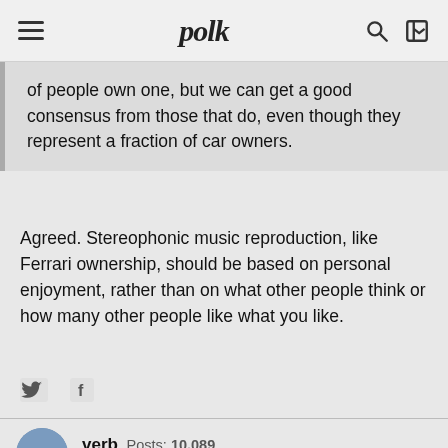polk
of people own one, but we can get a good consensus from those that do, even though they represent a fraction of car owners.
Agreed. Stereophonic music reproduction, like Ferrari ownership, should be based on personal enjoyment, rather than on what other people think or how many other people like what you like.
verb  Posts: 10,089  August 2019
Gotta laugh here! This thread really got off the rails, but good to see it's back on track!